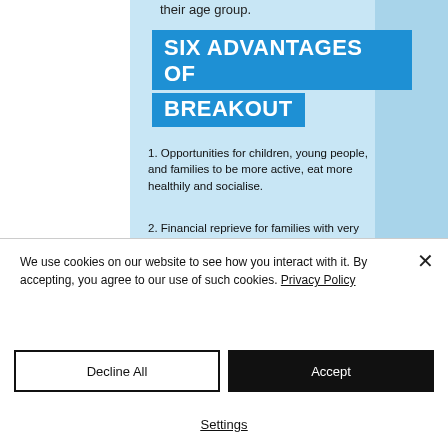their age group.
SIX ADVANTAGES OF BREAKOUT
1. Opportunities for children, young people, and families to be more active, eat more healthily and socialise.
2. Financial reprieve for families with very low incomes.
3. Building confidence and life skills, providing a pathway to a brighter future.
We use cookies on our website to see how you interact with it. By accepting, you agree to our use of such cookies. Privacy Policy
Decline All
Accept
Settings